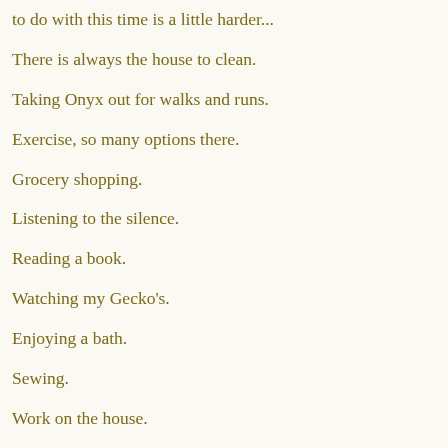to do with this time is a little harder...
There is always the house to clean.
Taking Onyx out for walks and runs.
Exercise, so many options there.
Grocery shopping.
Listening to the silence.
Reading a book.
Watching my Gecko's.
Enjoying a bath.
Sewing.
Work on the house.